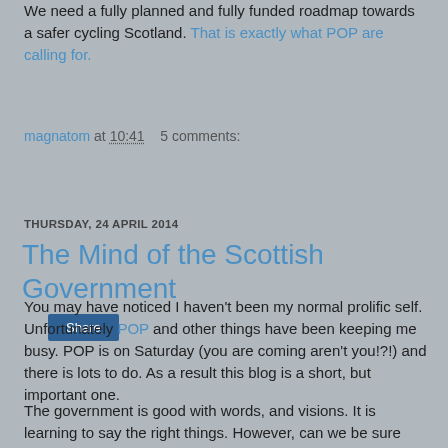We need a fully planned and fully funded roadmap towards a safer cycling Scotland. That is exactly what POP are calling for.
magnatom at 10:41   5 comments:
Share
THURSDAY, 24 APRIL 2014
The Mind of the Scottish Government
You may have noticed I haven't been my normal prolific self. Unfortunately POP and other things have been keeping me busy. POP is on Saturday (you are coming aren't you!?!) and there is lots to do. As a result this blog is a short, but important one.
The government is good with words, and visions. It is learning to say the right things. However, can we be sure that these good words will translate into good actions?